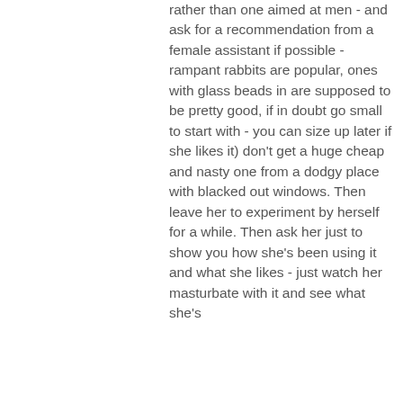rather than one aimed at men - and ask for a recommendation from a female assistant if possible - rampant rabbits are popular, ones with glass beads in are supposed to be pretty good, if in doubt go small to start with - you can size up later if she likes it) don't get a huge cheap and nasty one from a dodgy place with blacked out windows. Then leave her to experiment by herself for a while. Then ask her just to show you how she's been using it and what she likes - just watch her masturbate with it and see what she's